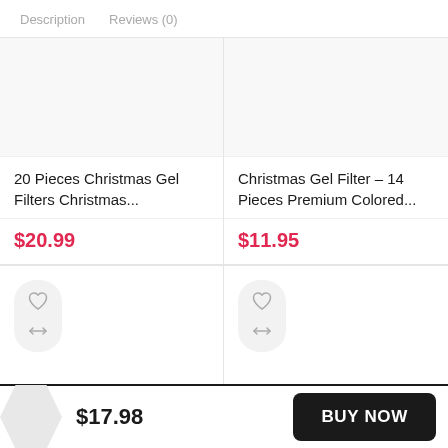Description   Reviews (0)
20 Pieces Christmas Gel Filters Christmas...
$20.99
Christmas Gel Filter – 14 Pieces Premium Colored...
$11.95
$17.98
BUY NOW